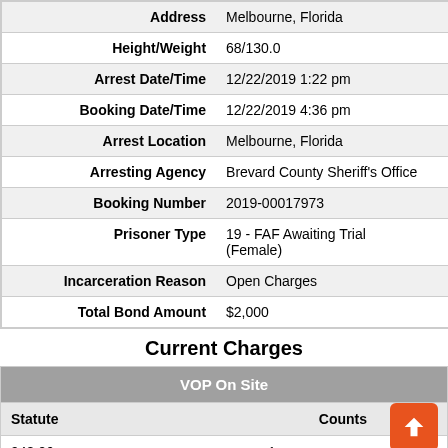| Field | Value |
| --- | --- |
| Address | Melbourne, Florida |
| Height/Weight | 68/130.0 |
| Arrest Date/Time | 12/22/2019 1:22 pm |
| Booking Date/Time | 12/22/2019 4:36 pm |
| Arrest Location | Melbourne, Florida |
| Arresting Agency | Brevard County Sheriff's Office |
| Booking Number | 2019-00017973 |
| Prisoner Type | 19 - FAF Awaiting Trial (Female) |
| Incarceration Reason | Open Charges |
| Total Bond Amount | $2,000 |
Current Charges
| Statute | Counts |
| --- | --- |
| 948.06 os | 1 |